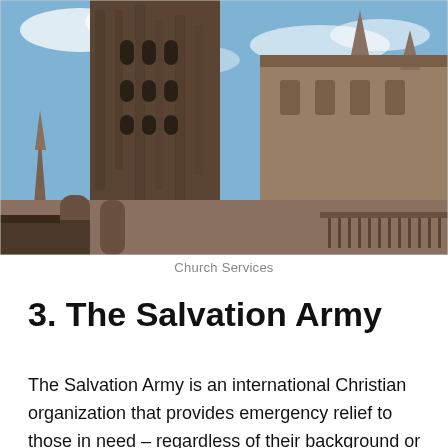[Figure (photo): Low-angle photograph of a large Gothic cathedral with ornate stone towers, spires, and detailed carvings against a partly cloudy blue sky.]
Church Services
3. The Salvation Army
The Salvation Army is an international Christian organization that provides emergency relief to those in need – regardless of their background or religion. From emergency food and shelter